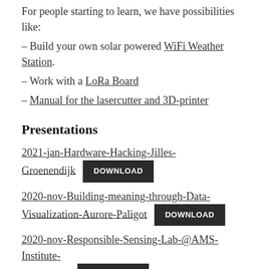For people starting to learn, we have possibilities like:
– Build your own solar powered WiFi Weather Station.
– Work with a LoRa Board
– Manual for the lasercutter and 3D-printer
Presentations
2021-jan-Hardware-Hacking-Jilles-Groenendijk  DOWNLOAD
2020-nov-Building-meaning-through-Data-Visualization-Aurore-Paligot  DOWNLOAD
2020-nov-Responsible-Sensing-Lab-@AMS-Institute-Thijs-Turel  DOWNLOAD
2020-nov-Sniffer-bike-crowdsourcing-SODAQ-Jan-  DOWNLOAD